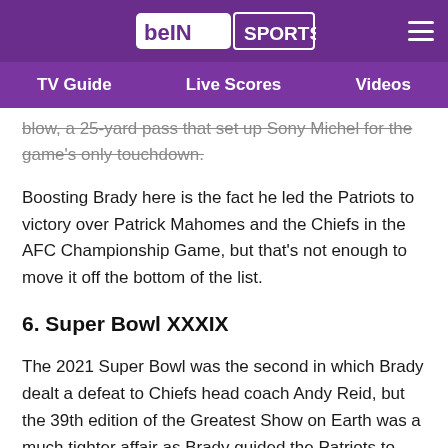beIN SPORTS — TV Guide | Live Scores | Videos
blow, a 25-yard pass that set up Sony Michel for the game's only touchdown.
Boosting Brady here is the fact he led the Patriots to victory over Patrick Mahomes and the Chiefs in the AFC Championship Game, but that's not enough to move it off the bottom of the list.
6. Super Bowl XXXIX
The 2021 Super Bowl was the second in which Brady dealt a defeat to Chiefs head coach Andy Reid, but the 39th edition of the Greatest Show on Earth was a much tighter affair as Brady guided the Patriots to back-to-